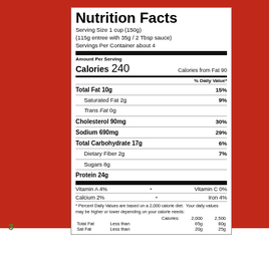[Figure (photo): Nutrition Facts label on a red food package background]
| Nutrient | Amount | % DV |
| --- | --- | --- |
| Calories | 240 |  |
| Calories from Fat | 90 |  |
| Total Fat | 10g | 15% |
| Saturated Fat | 2g | 9% |
| Trans Fat | 0g |  |
| Cholesterol | 90mg | 30% |
| Sodium | 690mg | 29% |
| Total Carbohydrate | 17g | 6% |
| Dietary Fiber | 2g | 7% |
| Sugars | 8g |  |
| Protein | 24g |  |
| Vitamin A | 4% |  |
| Vitamin C | 0% |  |
| Calcium | 2% |  |
| Iron | 4% |  |
* Percent Daily Values are based on a 2,000 calorie diet. Your daily values may be higher or lower depending on your calorie needs: Calories: 2,000 2,500 Total Fat Less than 65g 80g Sat Fat Less than 20g 25g